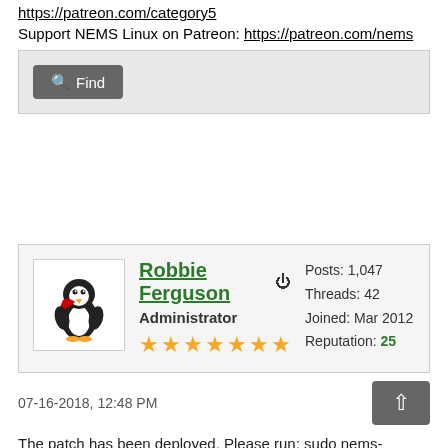https://patreon.com/category5
Support NEMS Linux on Patreon: https://patreon.com/nems
Find (button)
Robbie Ferguson  Administrator  Posts: 1,047  Threads: 42  Joined: Mar 2012  Reputation: 25
07-16-2018, 12:48 PM
The patch has been deployed. Please run: sudo nems-quickfix Then, try generating a config. Please let me know if you still